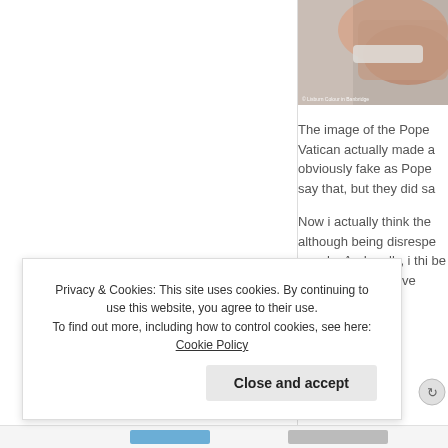[Figure (photo): Partial photo of hands, possibly on a surface, with a watermark at bottom left reading '© Lisburn Colour in Banbridge']
The image of the Pope Vatican actually made a obviously fake as Pope say that, but they did sa
Now i actually think the although being disrespe people. And really, i thi be 'putin' his lips all ove
Privacy & Cookies: This site uses cookies. By continuing to use this website, you agree to their use.
To find out more, including how to control cookies, see here: Cookie Policy
Close and accept